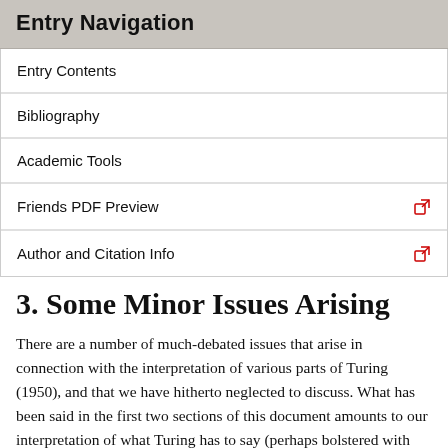Entry Navigation
Entry Contents
Bibliography
Academic Tools
Friends PDF Preview
Author and Citation Info
3. Some Minor Issues Arising
There are a number of much-debated issues that arise in connection with the interpretation of various parts of Turing (1950), and that we have hitherto neglected to discuss. What has been said in the first two sections of this document amounts to our interpretation of what Turing has to say (perhaps bolstered with what we take to be further relevant considerations in those cases where Turing's remarks can be fairly readily improved upon). But since some of this interpretation has been contested, it